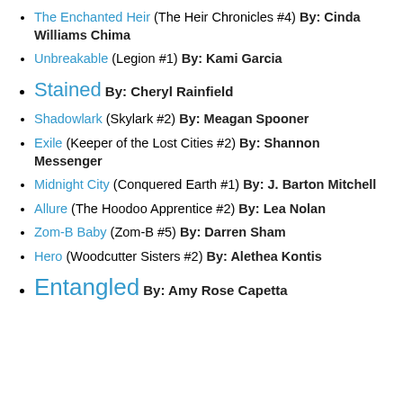The Enchanted Heir (The Heir Chronicles #4) By: Cinda Williams Chima
Unbreakable (Legion #1) By: Kami Garcia
Stained By: Cheryl Rainfield
Shadowlark (Skylark #2) By: Meagan Spooner
Exile (Keeper of the Lost Cities #2) By: Shannon Messenger
Midnight City (Conquered Earth #1) By: J. Barton Mitchell
Allure (The Hoodoo Apprentice #2) By: Lea Nolan
Zom-B Baby (Zom-B #5) By: Darren Sham
Hero (Woodcutter Sisters #2) By: Alethea Kontis
Entangled By: Amy Rose Capetta